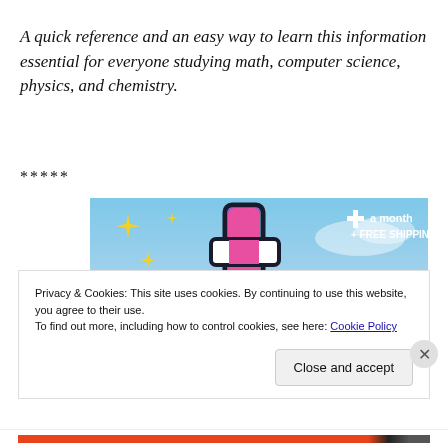A quick reference and an easy way to learn this information essential for everyone studying math, computer science, physics, and chemistry.
*****
[Figure (illustration): Tumblr advertisement banner with colorful stylized 't' logo on blue sky background, with sparkles and text 'a month + FREE SHIPPING']
Privacy & Cookies: This site uses cookies. By continuing to use this website, you agree to their use.
To find out more, including how to control cookies, see here: Cookie Policy
Close and accept